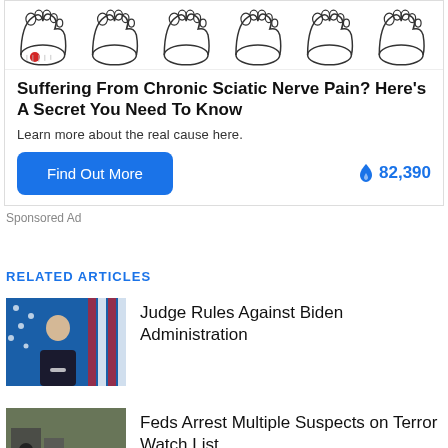[Figure (illustration): Row of foot/ankle silhouette illustrations, the first one with a red dot marking pain location on the heel]
Suffering From Chronic Sciatic Nerve Pain? Here's A Secret You Need To Know
Learn more about the real cause here.
[Figure (other): Blue 'Find Out More' button and blue flame icon with '82,390' trending count]
Sponsored Ad
RELATED ARTICLES
[Figure (photo): Photo of older man in suit speaking at podium with US flag and blue star background — Biden administration article thumbnail]
Judge Rules Against Biden Administration
[Figure (photo): Photo of law enforcement officers in tactical gear making arrests — terror watch list article thumbnail]
Feds Arrest Multiple Suspects on Terror Watch List